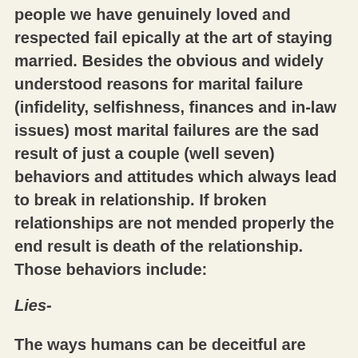people we have genuinely loved and respected fail epically at the art of staying married. Besides the obvious and widely understood reasons for marital failure (infidelity, selfishness, finances and in-law issues) most marital failures are the sad result of just a couple (well seven) behaviors and attitudes which always lead to break in relationship. If broken relationships are not mended properly the end result is death of the relationship. Those behaviors include:
Lies-
The ways humans can be deceitful are nearly infinite. They include (but are not limited to) hiding things, emotional affairs, fabricating stories, infidelity, not telling the whole story and helping children to hide sin from the other parent. All